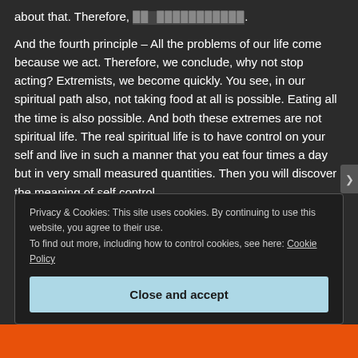about that. Therefore, [garbled text].
And the fourth principle – All the problems of our life come because we act. Therefore, we conclude, why not stop acting? Extremists, we become quickly. You see, in our spiritual path also, not taking food at all is possible. Eating all the time is also possible. And both these extremes are not spiritual life. The real spiritual life is to have control on your self and live in such a manner that you eat four times a day but in very small measured quantities. Then you will discover the meaning of self control.
Privacy & Cookies: This site uses cookies. By continuing to use this website, you agree to their use.
To find out more, including how to control cookies, see here: Cookie Policy
Close and accept